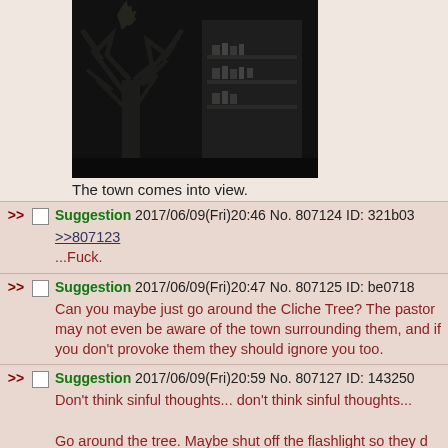[Figure (illustration): Dark illustration of a spooky tree silhouette with a building or bookshelves visible in the background, on a dark night scene]
The town comes into view.
>> Suggestion 2017/06/09(Fri)20:46 No. 807124 ID: 321b03
>>807123
...Fuck.
>> Suggestion 2017/06/09(Fri)20:47 No. 807125 ID: be0718
Can you maybe just go around the Cliche Tree? The pastor may not even be aware of the town surrounding them, and if you don't provoke them they should ignore you too.
>> Suggestion 2017/06/09(Fri)20:59 No. 807127 ID: 143250
Don't think sinful thoughts... don't think sinful thoughts...
Go around the tree. Maybe shut off the flashlight so they don't spot you?
>> Suggestion 2017/06/09(Fri)21:29 No. 807133 ID: 8d4593